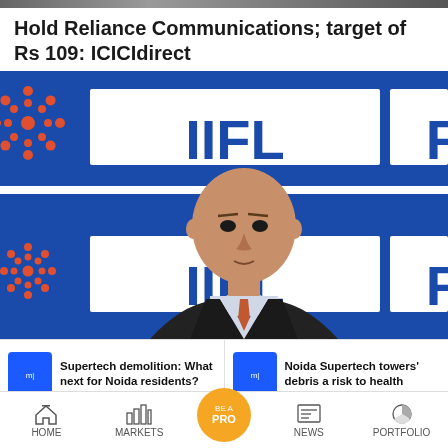[Figure (photo): Top strip image (partially cropped photo at top of page)]
Hold Reliance Communications; target of Rs 109: ICICIdirect
[Figure (photo): Photo of a man in a suit in front of IIFL branded background with red snowflake logos and blue IIFL text]
Supertech demolition: What next for Noida residents?
Noida Supertech towers' debris a risk to health
HOME  MARKETS  BE A PRO  NEWS  PORTFOLIO